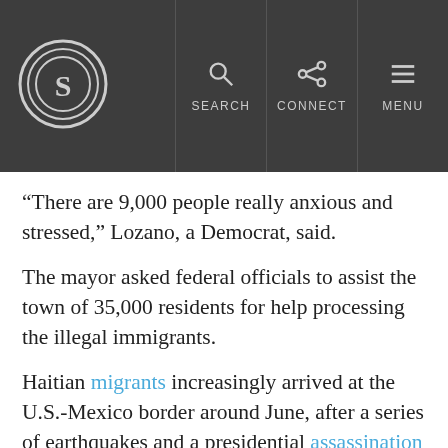Snopes logo navigation bar with SEARCH, CONNECT, MENU
“There are 9,000 people really anxious and stressed,” Lozano, a Democrat, said.
The mayor asked federal officials to assist the town of 35,000 residents for help processing the illegal immigrants.
Haitian migrants increasingly arrived at the U.S.-Mexico border around June, after a series of earthquakes and a presidential assassination shook that country, the Times reported.
Border officials encountered nearly 209,000 illegal immigrants at the southern border in August,